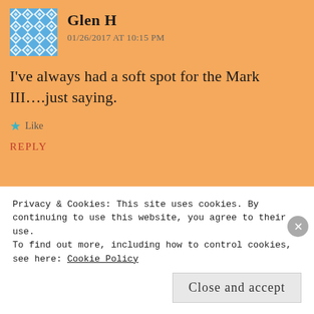[Figure (illustration): Avatar for Glen H — decorative blue and white geometric diamond pattern tile]
Glen H
01/26/2017 AT 10:15 PM
I've always had a soft spot for the Mark III….just saying.
★ Like
REPLY
[Figure (photo): Profile photo of Laurence Jones — a man sitting in a car]
Laurence Jones
01/26/2017 AT 10:19 PM
Privacy & Cookies: This site uses cookies. By continuing to use this website, you agree to their use.
To find out more, including how to control cookies, see here: Cookie Policy
Close and accept